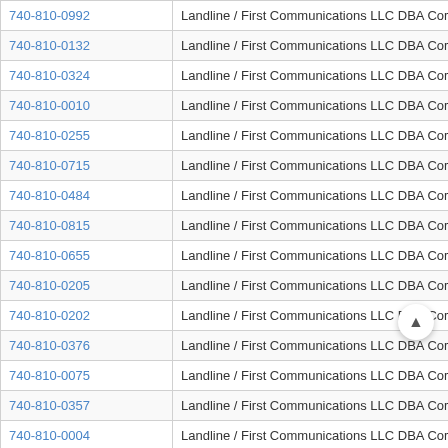| Phone | Carrier | Prefix |
| --- | --- | --- |
| 740-810-0992 | Landline / First Communications LLC DBA Corecomm | 740 |
| 740-810-0132 | Landline / First Communications LLC DBA Corecomm | 740 |
| 740-810-0324 | Landline / First Communications LLC DBA Corecomm | 740 |
| 740-810-0010 | Landline / First Communications LLC DBA Corecomm | 740 |
| 740-810-0255 | Landline / First Communications LLC DBA Corecomm | 740 |
| 740-810-0715 | Landline / First Communications LLC DBA Corecomm | 740 |
| 740-810-0484 | Landline / First Communications LLC DBA Corecomm | 740 |
| 740-810-0815 | Landline / First Communications LLC DBA Corecomm | 740 |
| 740-810-0655 | Landline / First Communications LLC DBA Corecomm | 740 |
| 740-810-0205 | Landline / First Communications LLC DBA Corecomm | 740 |
| 740-810-0202 | Landline / First Communications LLC DBA Corecomm | 740 |
| 740-810-0376 | Landline / First Communications LLC DBA Corecomm | 740 |
| 740-810-0075 | Landline / First Communications LLC DBA Corecomm | 740 |
| 740-810-0357 | Landline / First Communications LLC DBA Corecomm | 740 |
| 740-810-0004 | Landline / First Communications LLC DBA Corecomm | 740 |
| 740-810-0608 | Landline / First Communications LLC DBA Corecomm | 740 |
| 740-810-0260 | Landline / First Communications LLC DBA Corecomm | 740 |
| 740-810-0343 | Landline / First Communications LLC DBA Corecomm | 740 |